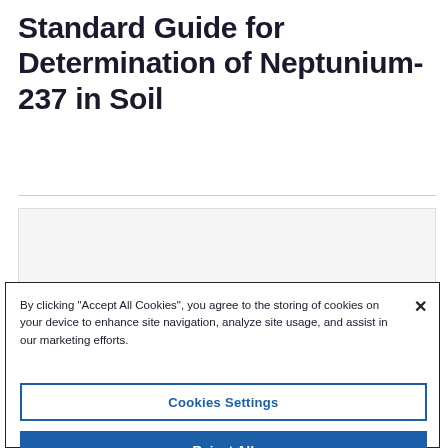Standard Guide for Determination of Neptunium-237 in Soil
Version
[Figure (screenshot): Cookie consent popup with 'Cookies Settings' and 'Reject All' buttons, and a close (×) button. Text reads: By clicking "Accept All Cookies", you agree to the storing of cookies on your device to enhance site navigation, analyze site usage, and assist in our marketing efforts.]